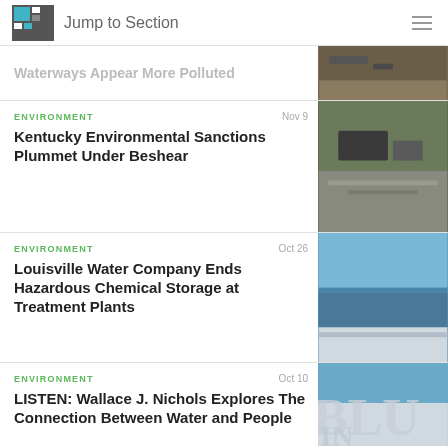Jump to Section
Waterways Appear More Polluted
ENVIRONMENT
Nov 9
Kentucky Environmental Sanctions Plummet Under Beshear
[Figure (photo): Photo of an industrial or environmental site with pipes and overgrown vegetation]
ENVIRONMENT
Oct 26
Louisville Water Company Ends Hazardous Chemical Storage at Treatment Plants
[Figure (photo): Photo of a river or waterway with blue sky]
ENVIRONMENT
Oct 10
LISTEN: Wallace J. Nichols Explores The Connection Between Water and People
[Figure (photo): Partial text overlay showing large letters BLU and IN on a waterway background]